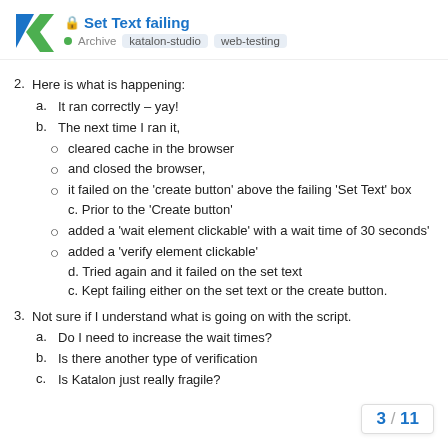Set Text failing | Archive | katalon-studio | web-testing
2. Here is what is happening:
a. It ran correctly – yay!
b. The next time I ran it,
cleared cache in the browser
and closed the browser,
it failed on the 'create button' above the failing 'Set Text' box
c. Prior to the 'Create button'
added a 'wait element clickable' with a wait time of 30 seconds'
added a 'verify element clickable'
d. Tried again and it failed on the set text
c. Kept failing either on the set text or the create button.
3. Not sure if I understand what is going on with the script.
a. Do I need to increase the wait times?
b. Is there another type of verification
c. Is Katalon just really fragile?
3 / 11